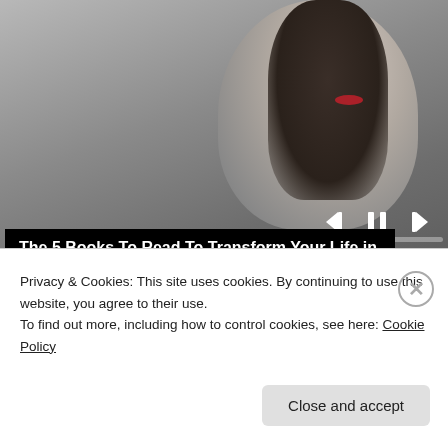[Figure (screenshot): Video player showing a woman with dark braided hair and red lips, with playback controls (skip back, pause, skip forward) visible at top right, and a progress bar below. Overlaid title text reads: The 5 Books To Read To Transform Your Life in 2022]
The 5 Books To Read To Transform Your Life in 2022
sponsored by Plant Parent
Privacy & Cookies: This site uses cookies. By continuing to use this website, you agree to their use.
To find out more, including how to control cookies, see here: Cookie Policy